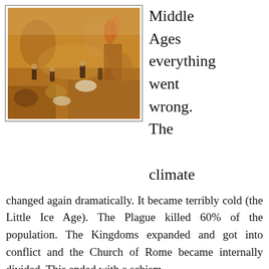[Figure (illustration): A medieval painting depicting a chaotic battle or plague scene with many figures, horses, and destruction in an earthy orange and brown palette.]
Middle Ages everything went wrong. The climate changed again dramatically. It became terribly cold (the Little Ice Age). The Plague killed 60% of the population. The Kingdoms expanded and got into conflict and the Church of Rome became internally divided. This ended with a schism.
As you see history is highly influenced by the Climate. A warm climate causes big problems with the water...